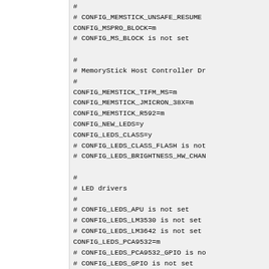#
# CONFIG_MEMSTICK_UNSAFE_RESUME
CONFIG_MSPRO_BLOCK=m
# CONFIG_MS_BLOCK is not set

#
# MemoryStick Host Controller Dr
#
CONFIG_MEMSTICK_TIFM_MS=m
CONFIG_MEMSTICK_JMICRON_38X=m
CONFIG_MEMSTICK_R592=m
CONFIG_NEW_LEDS=y
CONFIG_LEDS_CLASS=y
# CONFIG_LEDS_CLASS_FLASH is not
# CONFIG_LEDS_BRIGHTNESS_HW_CHAN

#
# LED drivers
#
# CONFIG_LEDS_APU is not set
# CONFIG_LEDS_LM3530 is not set
# CONFIG_LEDS_LM3642 is not set
CONFIG_LEDS_PCA9532=m
# CONFIG_LEDS_PCA9532_GPIO is no
# CONFIG_LEDS_GPIO is not set
CONFIG_LEDS_LP3944=m
# CONFIG_LEDS_LP3952 is not set
# CONFIG_LEDS_LP5521 is not set
# CONFIG_LEDS_LP5523 is not set
# CONFIG_LEDS_LP5562 is not set
# CONFIG_LEDS_LP8501 is not set
CONFIG_LEDS_CLEVO_MAIL=m
CONFIG_LEDS_PCA055X=m